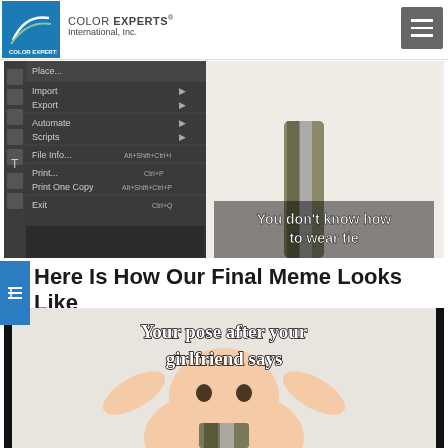COLOR EXPERTS International, Inc.
[Figure (screenshot): Photoshop menu open showing File menu items (Place, Import, Export, Automate, Scripts, File Info, Print, Print One Copy, Exit) alongside a meme image of a baby wearing a tie with text 'You don't know how to wear tie']
Here Is How Our Final Meme Looks Like
[Figure (photo): Meme image of a baby lying on its back with hands behind head, wearing a striped tie, with text 'Your pose after your girlfriend says']